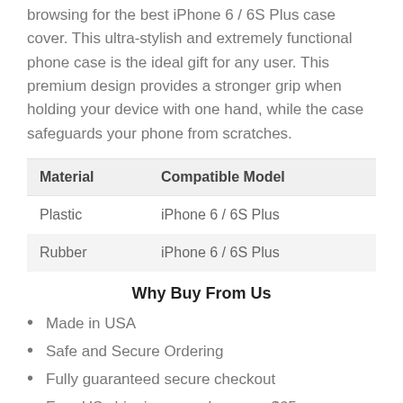browsing for the best iPhone 6 / 6S Plus case cover. This ultra-stylish and extremely functional phone case is the ideal gift for any user. This premium design provides a stronger grip when holding your device with one hand, while the case safeguards your phone from scratches.
| Material | Compatible Model |
| --- | --- |
| Plastic | iPhone 6 / 6S Plus |
| Rubber | iPhone 6 / 6S Plus |
Why Buy From Us
Made in USA
Safe and Secure Ordering
Fully guaranteed secure checkout
Free US shipping on orders over $65